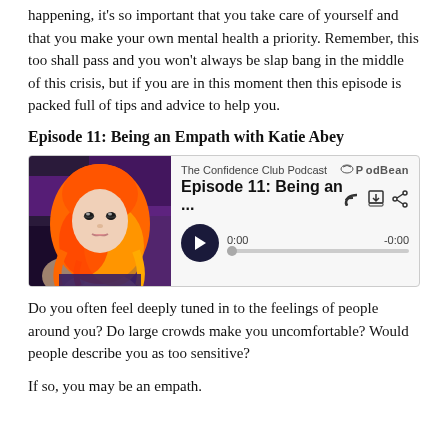happening, it's so important that you take care of yourself and that you make your own mental health a priority. Remember, this too shall pass and you won't always be slap bang in the middle of this crisis, but if you are in this moment then this episode is packed full of tips and advice to help you.
Episode 11: Being an Empath with Katie Abey
[Figure (screenshot): Podcast player widget showing 'The Confidence Club Podcast' Episode 11: Being an Empath, with a photo of a woman with bright orange/red hair, a play button, progress bar showing 0:00 and -0:00, and PodBean logo.]
Do you often feel deeply tuned in to the feelings of people around you? Do large crowds make you uncomfortable? Would people describe you as too sensitive?
If so, you may be an empath.